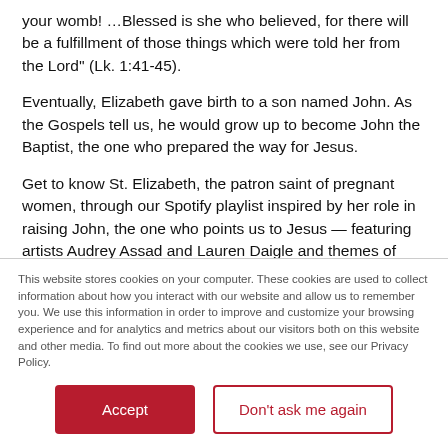your womb! …Blessed is she who believed, for there will be a fulfillment of those things which were told her from the Lord'' (Lk. 1:41-45).
Eventually, Elizabeth gave birth to a son named John. As the Gospels tell us, he would grow up to become John the Baptist, the one who prepared the way for Jesus.
Get to know St. Elizabeth, the patron saint of pregnant women, through our Spotify playlist inspired by her role in raising John, the one who points us to Jesus — featuring artists Audrey Assad and Lauren Daigle and themes of patience and faith.
This website stores cookies on your computer. These cookies are used to collect information about how you interact with our website and allow us to remember you. We use this information in order to improve and customize your browsing experience and for analytics and metrics about our visitors both on this website and other media. To find out more about the cookies we use, see our Privacy Policy.